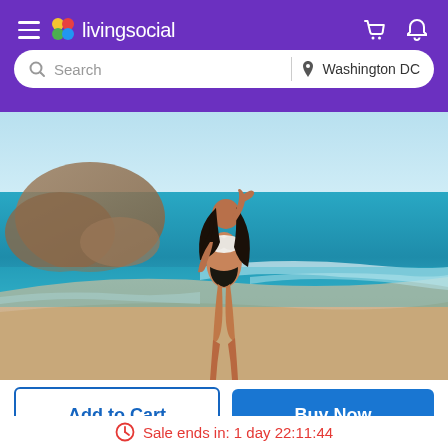livingsocial — Search | Washington DC
[Figure (screenshot): LivingSocial mobile app interface showing a purple header with hamburger menu, livingsocial logo with colorful dots, cart and bell icons, a rounded search bar with 'Search' placeholder and 'Washington DC' location, and a product image of a woman in a white bikini top and black bikini bottom walking on a beach with turquoise water and rocks in the background.]
Add to Cart
Buy Now
Sale ends in: 1 day 22:11:44